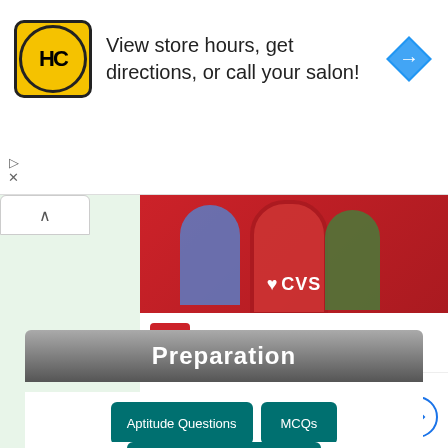[Figure (screenshot): Ad banner: HC (Hair Club) logo with text 'View store hours, get directions, or call your salon!' and a blue navigation arrow icon]
[Figure (screenshot): CVS advertisement block showing CVS photo banner, 'Spend $40, Get $10 ExtraBuck...' offer, and CVS Ashburn store hours 08:00-00:00]
Preparation
Aptitude Questions
MCQs
Find Output Programs
HR Interview Que.
Join Our Telegram Chanel.